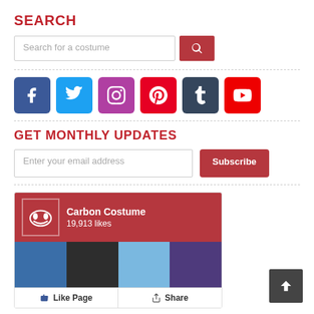SEARCH
[Figure (screenshot): Search input box with placeholder 'Search for a costume' and a red search button]
[Figure (infographic): Social media icons row: Facebook, Twitter, Instagram, Pinterest, Tumblr, YouTube]
GET MONTHLY UPDATES
[Figure (screenshot): Email input field with placeholder 'Enter your email address' and a red Subscribe button]
[Figure (screenshot): Carbon Costume Facebook Like Page widget showing 19,913 likes with photo collage and Like/Share buttons]
[Figure (other): Dark grey back-to-top arrow button in bottom right corner]